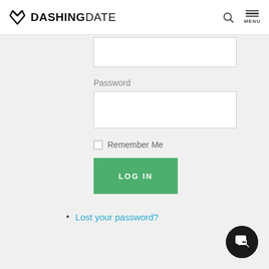DASHING DATE
Password
Remember Me
LOG IN
Lost your password?